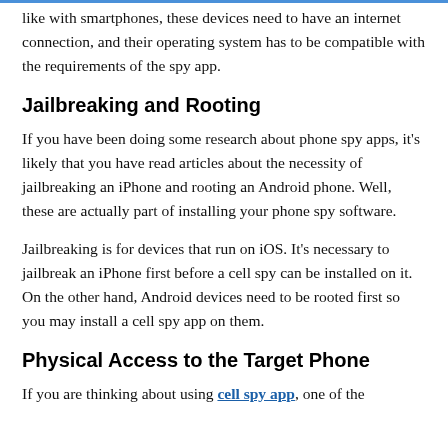like with smartphones, these devices need to have an internet connection, and their operating system has to be compatible with the requirements of the spy app.
Jailbreaking and Rooting
If you have been doing some research about phone spy apps, it's likely that you have read articles about the necessity of jailbreaking an iPhone and rooting an Android phone. Well, these are actually part of installing your phone spy software.
Jailbreaking is for devices that run on iOS. It's necessary to jailbreak an iPhone first before a cell spy can be installed on it. On the other hand, Android devices need to be rooted first so you may install a cell spy app on them.
Physical Access to the Target Phone
If you are thinking about using cell spy app, one of the